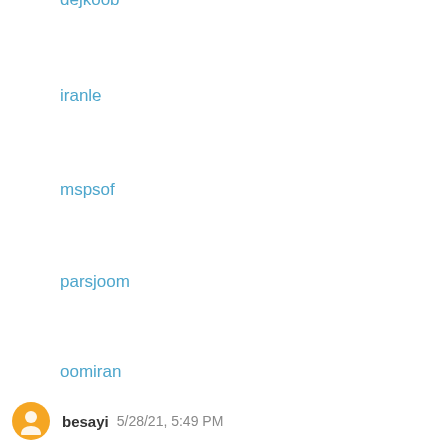dejkoob
iranle
mspsof
parsjoom
oomiran
gistech
kelidestan
voipshop
Reply
besayi  5/28/21, 5:49 PM